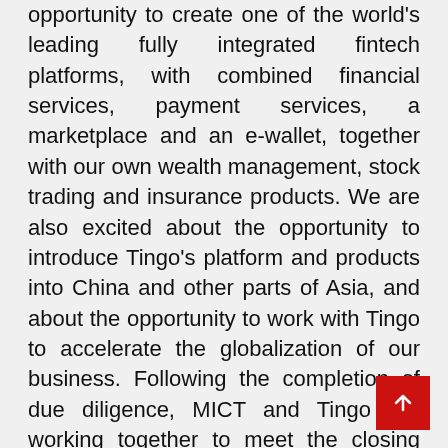opportunity to create one of the world's leading fully integrated fintech platforms, with combined financial services, payment services, a marketplace and an e-wallet, together with our own wealth management, stock trading and insurance products. We are also excited about the opportunity to introduce Tingo's platform and products into China and other parts of Asia, and about the opportunity to work with Tingo to accelerate the globalization of our business. Following the completion of due diligence, MICT and Tingo are working together to meet the closing conditions for the Merger, including obtaining stockholder approval, the satisfaction of regulatory requirements and the SEC declaration of effectiveness of a Registration Statement, all of which we aim to achieve